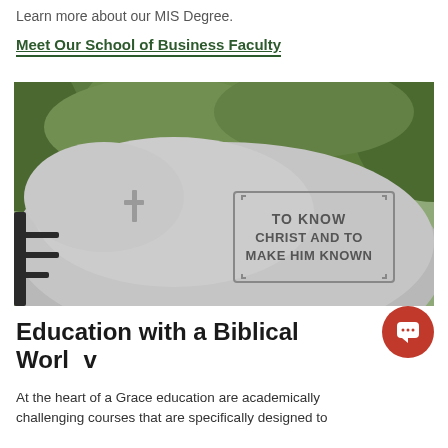Learn more about our MIS Degree.
Meet Our School of Business Faculty
[Figure (photo): A carved stone boulder with the inscription 'TO KNOW CHRIST AND TO MAKE HIM KNOWN' with a cross carved nearby, set against green foliage background.]
Education with a Biblical Worldview
At the heart of a Grace education are academically challenging courses that are specifically designed to